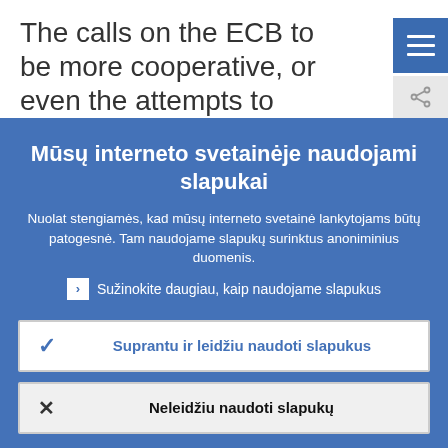The calls on the ECB to be more cooperative, or even the attempts to influence its behaviour, do not seem to
Mūsų interneto svetainėje naudojami slapukai
Nuolat stengiamės, kad mūsų interneto svetainė lankytojams būtų patogesnė. Tam naudojame slapukų surinktus anoniminius duomenis.
Sužinokite daugiau, kaip naudojame slapukus
Suprantu ir leidžiu naudoti slapukus
Neleidžiu naudoti slapukų